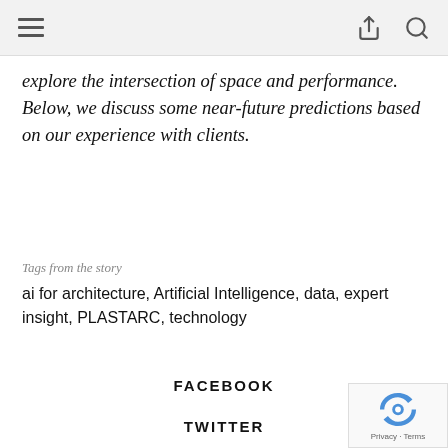[hamburger menu icon] [share icon] [search icon]
explore the intersection of space and performance. Below, we discuss some near-future predictions based on our experience with clients.
Tags from the story
ai for architecture, Artificial Intelligence, data, expert insight, PLASTARC, technology
FACEBOOK
TWITTER
PINTEREST